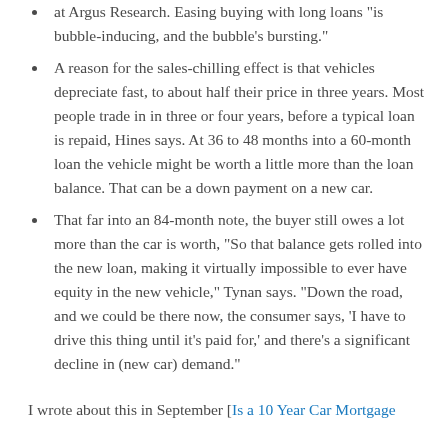at Argus Research. Easing buying with long loans "is bubble-inducing, and the bubble's bursting."
A reason for the sales-chilling effect is that vehicles depreciate fast, to about half their price in three years. Most people trade in in three or four years, before a typical loan is repaid, Hines says. At 36 to 48 months into a 60-month loan the vehicle might be worth a little more than the loan balance. That can be a down payment on a new car.
That far into an 84-month note, the buyer still owes a lot more than the car is worth, "So that balance gets rolled into the new loan, making it virtually impossible to ever have equity in the new vehicle," Tynan says. "Down the road, and we could be there now, the consumer says, 'I have to drive this thing until it's paid for,' and there's a significant decline in (new car) demand."
I wrote about this in September [Is a 10 Year Car Mortgage